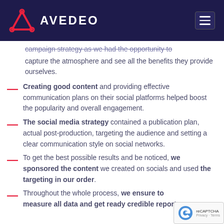AVEDEO
campaign strategy as we had the opportunity to capture the atmosphere and see all the benefits they provide ourselves.
Creating good content and providing effective communication plans on their social platforms helped boost the popularity and overall engagement.
The social media strategy contained a publication plan, actual post-production, targeting the audience and setting a clear communication style on social networks.
To get the best possible results and be noticed, we sponsored the content we created on socials and used the targeting in our order.
Throughout the whole process, we ensure to measure all data and get ready credible reports